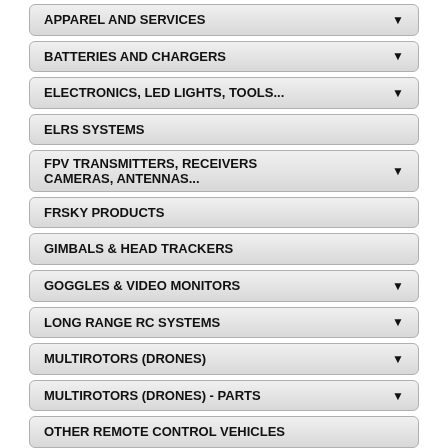APPAREL AND SERVICES
BATTERIES AND CHARGERS
ELECTRONICS, LED LIGHTS, TOOLS...
ELRS SYSTEMS
FPV TRANSMITTERS, RECEIVERS CAMERAS, ANTENNAS...
FRSKY PRODUCTS
GIMBALS & HEAD TRACKERS
GOGGLES & VIDEO MONITORS
LONG RANGE RC SYSTEMS
MULTIROTORS (DRONES)
MULTIROTORS (DRONES) - PARTS
OTHER REMOTE CONTROL VEHICLES